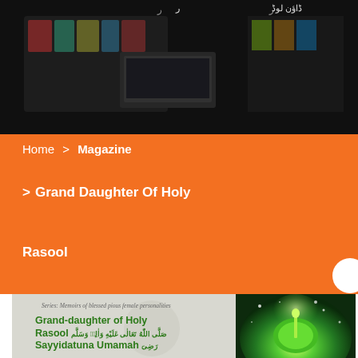[Figure (photo): Dark header image showing a desk/library scene with books and a computer, with Arabic text overlay at the top]
Home > Magazine
> Grand Daughter Of Holy
Rasool
[Figure (photo): Book cover showing 'Grand-daughter of Holy Rasool (Arabic text) Sayyidatuna Umamah (Arabic text)' in green bold text on grey background, with a green glowing mosque dome image on the right side. Series text reads: Series: Memoirs of blessed pious female personalities]